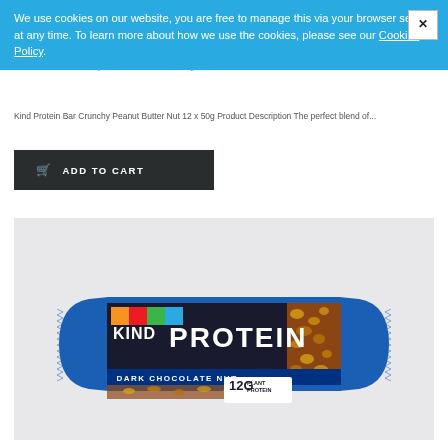We use cookies on our website, you are free to manage this via your browser setting at any time. To learn more about how we use the cookies, please see our Cookies Policy.
KIND Protein Bar Crunchy Peanut Butter Nut 12 x 50g
Kind Protein Bar Crunchy Peanut Butter Nut 12 x 50g Product Description The perfect blend of...
ADD TO CART
[Figure (photo): KIND Protein bar Dark Chocolate Nut flavor, blue packaging with KIND logo and PROTEIN text, showing 12G Plant Protein label, with visible nuts through clear window]